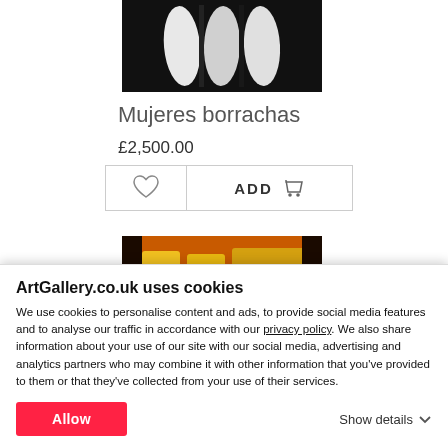[Figure (photo): Artwork photo showing white and black abstract painting - Mujeres borrachas]
Mujeres borrachas
£2,500.00
[Figure (photo): Second artwork photo showing colorful yellow and orange painting]
ArtGallery.co.uk uses cookies
We use cookies to personalise content and ads, to provide social media features and to analyse our traffic in accordance with our privacy policy. We also share information about your use of our site with our social media, advertising and analytics partners who may combine it with other information that you've provided to them or that they've collected from your use of their services.